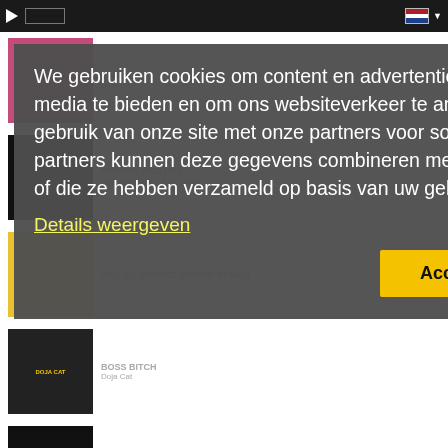[Figure (screenshot): Top navigation bar with play button, waveform, Dutch flag and dropdown arrow on dark background]
[Figure (screenshot): Music streaming page showing Doja Cat songs: SAY SO, MOTION PICTURE SOUNDTRACK ELVIS, SAY SO (FRIEND WITHIN REMIX), BOSS BITCH, STREETS [EXPLICIT], HI: SAY SO with album thumbnails]
We gebruiken cookies om content en advertenties te personaliseren, om functies voor social media te bieden en om ons websiteverkeer te analyseren. Ook delen we informatie over uw gebruik van onze site met onze partners voor social media, adverteren en analyse. Deze partners kunnen deze gegevens combineren met andere informatie die u aan ze heeft verstrekt of die ze hebben verzameld op basis van uw gebruik van hun services.
Details weergeven
Accepteer Cookies!